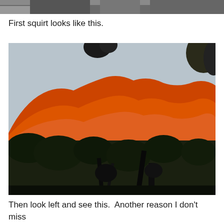[Figure (photo): Partial top edge of a photo, likely showing a close-up scene, cropped at the top of the page.]
First squirt looks like this.
[Figure (photo): Outdoor landscape photo at sunset showing red/orange glowing rocky mountains or mesas in the background, with dark silhouetted trees and bushes in the foreground, and what appears to be old farm equipment or machinery in the lower center-right area.]
Then look left and see this.  Another reason I don't miss